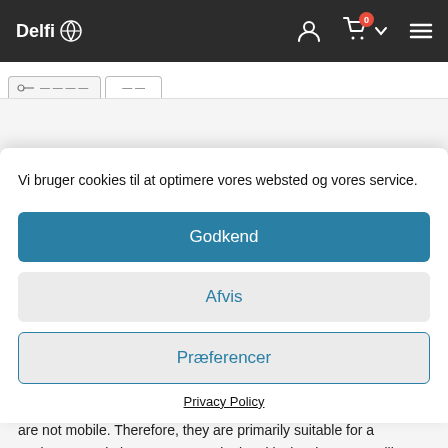Delfi
[Figure (screenshot): Partially visible tab/filter bar with slider and tab controls]
Vi bruger cookies til at optimere vores websted og vores service.
Godkend
Afvis
Præferencer
Privacy Policy
aware of those receipt printers which can be connected via USB, are not mobile. Therefore, they are primarily suitable for a stationary workplace. For example, in a kiosk, where you still want to print high-quality receipts.